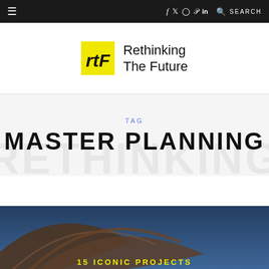≡  f  twitter  instagram  pinterest  in  🔍 SEARCH
[Figure (logo): Rethinking The Future logo — yellow square with stylized rtF monogram, next to text 'Rethinking The Future']
TAG
MASTER PLANNING
[Figure (photo): Architectural photo showing curved structural arches against a blue sky, partially visible; yellow text reads '15 ICONIC PROJECTS' at the bottom]